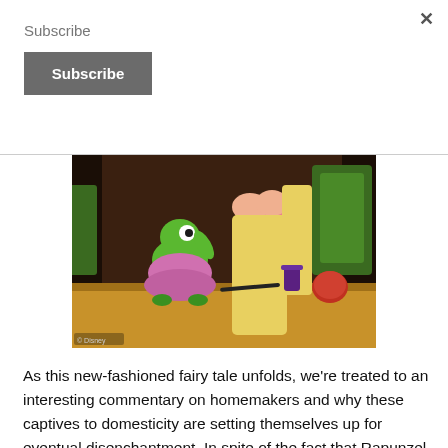Subscribe
Subscribe
[Figure (screenshot): Scene from Disney's Tangled animated movie showing Pascal the chameleon in a pink dress on a wooden table, with Rapunzel's pink-clothed arm and blonde hair visible in the background.]
As this new-fashioned fairy tale unfolds, we're treated to an interesting commentary on homemakers and why these captives to domesticity are setting themselves up for eventual disenchantment. In spite of the fact that Rapunzel has been locked away from the world and dominated by a sugary sweet despot, we find her a delightful, adorable girl, with a zest for learning and a